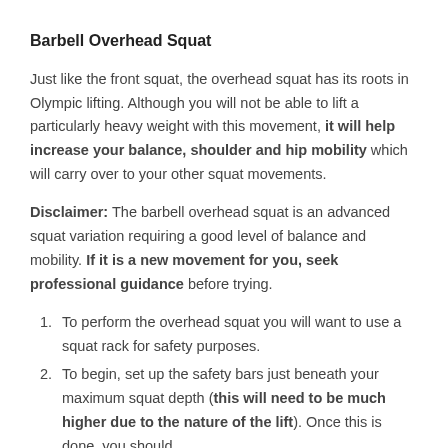Barbell Overhead Squat
Just like the front squat, the overhead squat has its roots in Olympic lifting. Although you will not be able to lift a particularly heavy weight with this movement, it will help increase your balance, shoulder and hip mobility which will carry over to your other squat movements.
Disclaimer: The barbell overhead squat is an advanced squat variation requiring a good level of balance and mobility. If it is a new movement for you, seek professional guidance before trying.
To perform the overhead squat you will want to use a squat rack for safety purposes.
To begin, set up the safety bars just beneath your maximum squat depth (this will need to be much higher due to the nature of the lift). Once this is done, you should